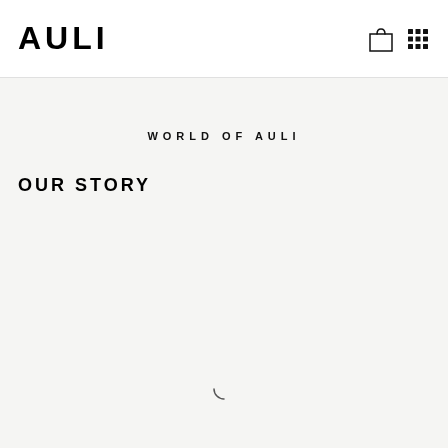AULI
WORLD OF AULI
OUR STORY
[Figure (other): Loading spinner arc icon at the bottom center of the page]